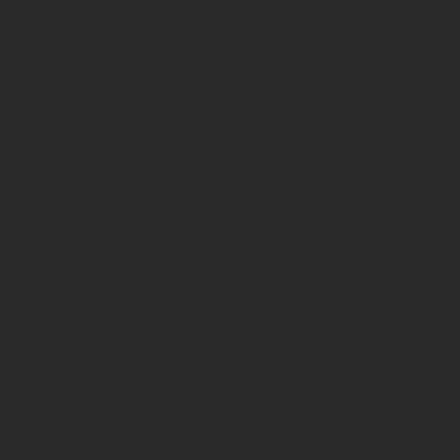[Figure (illustration): Dark background left panel of a webpage]
lip n... January...
Airon T. Reyes – is... each other.
art
Janua...
Awesome writing s...
bong
Janua...
great blog!
Kym
Janua...